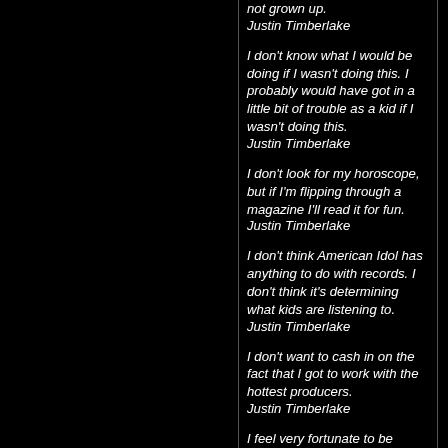not grown up.
Justin Timberlake
I don't know what I would be doing if I wasn't doing this. I probably would have got in a little bit of trouble as a kid if I wasn't doing this.
Justin Timberlake
I don't look for my horoscope, but if I'm flipping through a magazine I'll read it for fun.
Justin Timberlake
I don't think American Idol has anything to do with records. I don't think it's determining what kids are listening to.
Justin Timberlake
I don't want to cash in on the fact that I got to work with the hottest producers.
Justin Timberlake
I feel very fortunate to be